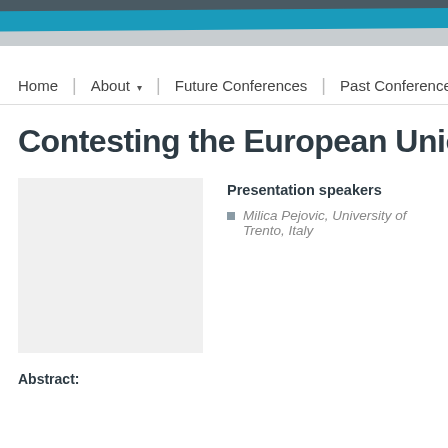[Figure (illustration): Website header banner with layered diagonal stripes in dark gray/slate, teal/blue, and silver colors]
Home | About ▾ | Future Conferences | Past Conferences
Contesting the European Union in Times
[Figure (photo): Gray placeholder image box on the left side]
Presentation speakers
Milica Pejovic, University of Trento, Italy
Abstract: